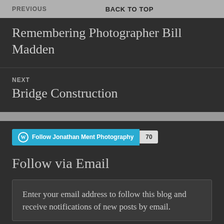PREVIOUS | BACK TO TOP
Remembering Photographer Bill Madden
NEXT
Bridge Construction
Follow Jonathan Ment Photography 70
Follow via Email
Enter your email address to follow this blog and receive notifications of new posts by email.